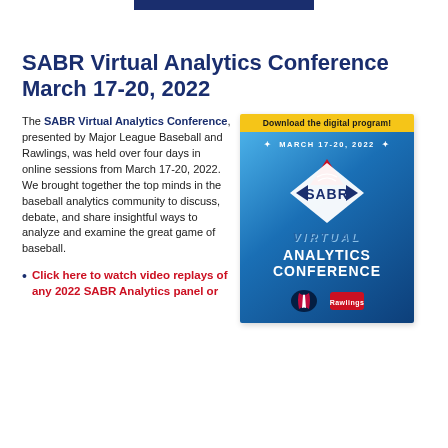SABR Virtual Analytics Conference March 17-20, 2022
The SABR Virtual Analytics Conference, presented by Major League Baseball and Rawlings, was held over four days in online sessions from March 17-20, 2022. We brought together the top minds in the baseball analytics community to discuss, debate, and share insightful ways to analyze and examine the great game of baseball.
[Figure (illustration): SABR Virtual Analytics Conference digital program cover. Blue gradient background with SABR diamond logo, baseball graphic, 'VIRTUAL' text, 'ANALYTICS CONFERENCE' in large white letters, MLB and Rawlings logos at bottom. Yellow badge at top reads 'Download the digital program!' Date 'March 17-20, 2022' shown.]
Click here to watch video replays of any 2022 SABR Analytics panel or